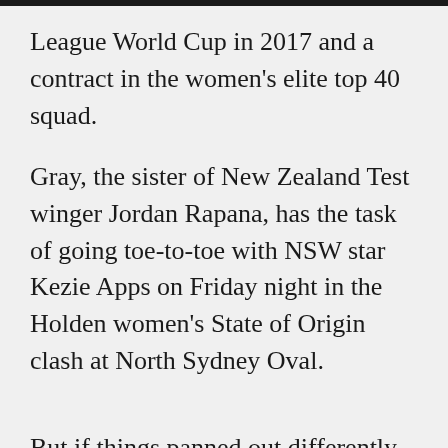League World Cup in 2017 and a contract in the women's elite top 40 squad.
Gray, the sister of New Zealand Test winger Jordan Rapana, has the task of going toe-to-toe with NSW star Kezie Apps on Friday night in the Holden women's State of Origin clash at North Sydney Oval.
But if things panned out differently last season, the pair could have been Jillaroos teammates